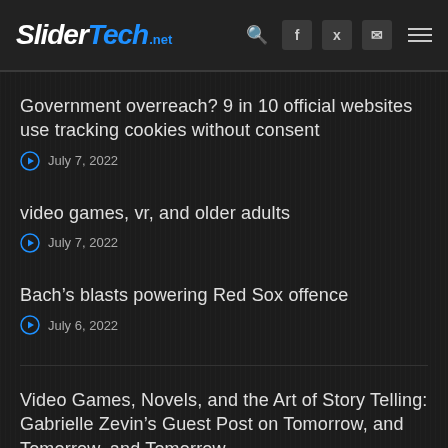SliderTech.net
Government overreach? 9 in 10 official websites use tracking cookies without consent
July 7, 2022
video games, vr, and older adults
July 7, 2022
Bach’s blasts powering Red Sox offence
July 6, 2022
Video Games, Novels, and the Art of Story Telling: Gabrielle Zevin’s Guest Post on Tomorrow, and Tomorrow, and Tomorrow